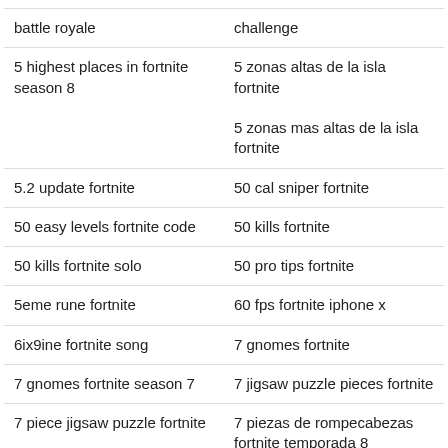| battle royale | challenge |
| 5 highest places in fortnite season 8 | 5 zonas altas de la isla fortnite
5 zonas mas altas de la isla fortnite |
| 5.2 update fortnite | 50 cal sniper fortnite |
| 50 easy levels fortnite code | 50 kills fortnite |
| 50 kills fortnite solo | 50 pro tips fortnite |
| 5eme rune fortnite | 60 fps fortnite iphone x |
| 6ix9ine fortnite song | 7 gnomes fortnite |
| 7 gnomes fortnite season 7 | 7 jigsaw puzzle pieces fortnite |
| 7 piece jigsaw puzzle fortnite | 7 piezas de rompecabezas fortnite temporada 8 |
| 8k fortnite wallpaper | 999 wood fortnite |
| a fortnite llama | a fortnite llama cake |